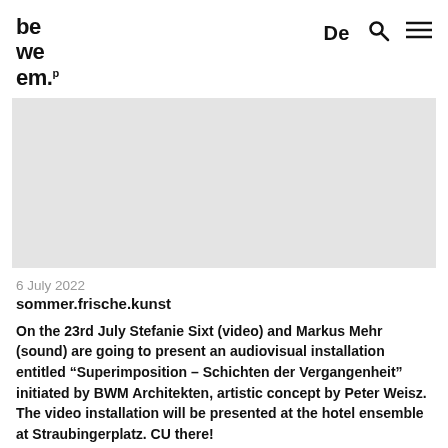be we em.p  De [search] [menu]
[Figure (photo): Light gray rectangular placeholder image, hero banner area]
6 July 2022
sommer.frische.kunst
On the 23rd July Stefanie Sixt (video) and Markus Mehr (sound) are going to present an audiovisual installation entitled “Superimposition – Schichten der Vergangenheit” initiated by BWM Architekten, artistic concept by Peter Weisz. The video installation will be presented at the hotel ensemble at Straubingerplatz. CU there!
Hotel Ensemble Straubingerplatz